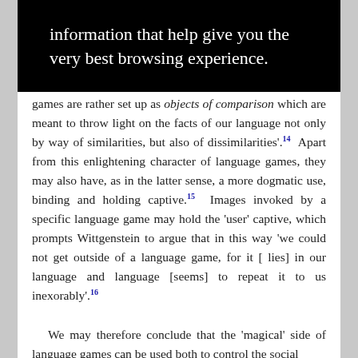[Figure (screenshot): Black box with white text reading 'information that help give you the very best browsing experience.']
games are rather set up as objects of comparison which are meant to throw light on the facts of our language not only by way of similarities, but also of dissimilarities'.14  Apart from this enlightening character of language games, they may also have, as in the latter sense, a more dogmatic use, binding and holding captive.15  Images invoked by a specific language game may hold the 'user' captive, which prompts Wittgenstein to argue that in this way 'we could not get outside of a language game, for it [ lies] in our language and language [seems] to repeat it to us inexorably'.16

We may therefore conclude that the 'magical' side of language games can be used both to control the social